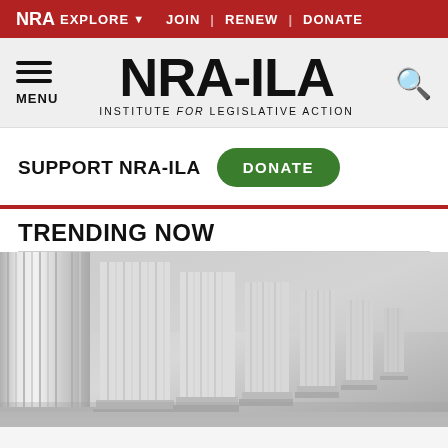NRA EXPLORE ▼  JOIN | RENEW | DONATE
NRA-ILA INSTITUTE for LEGISLATIVE ACTION
SUPPORT NRA-ILA DONATE
TRENDING NOW
[Figure (photo): Row of white classical Greek/Roman style columns receding into the distance, with white marble bases and steps visible, rendered in 3D on a grey background.]